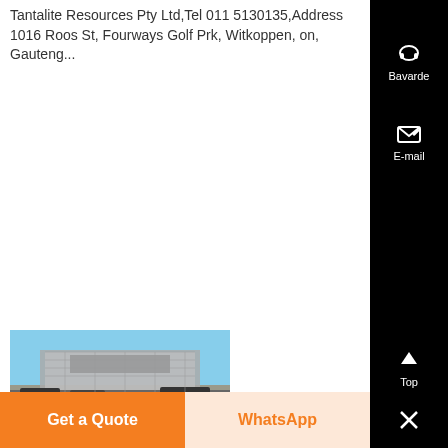Tantalite Resources Pty Ltd,Tel 011 5130135,Address 1016 Roos St, Fourways Golf Prk, Witkoppen, on, Gauteng...
[Figure (photo): Exterior photo of a building or industrial facility with vehicles parked outside, taken in daylight with a clear blue sky.]
Get a Quote
WhatsApp
Bavarde
E-mail
Top